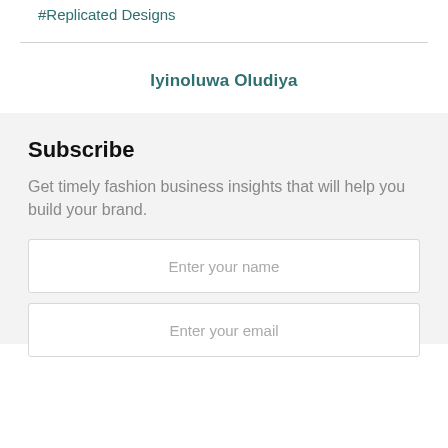#Replicated Designs
Iyinoluwa Oludiya
Subscribe
Get timely fashion business insights that will help you build your brand.
Enter your name
Enter your email